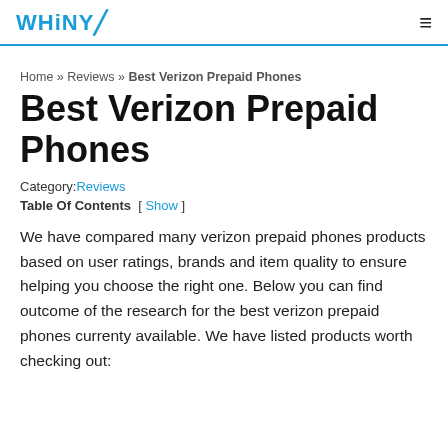WHiNYL
Home » Reviews » Best Verizon Prepaid Phones
Best Verizon Prepaid Phones
Category: Reviews
Table Of Contents  [ Show ]
We have compared many verizon prepaid phones products based on user ratings, brands and item quality to ensure helping you choose the right one. Below you can find outcome of the research for the best verizon prepaid phones currenty available. We have listed products worth checking out: